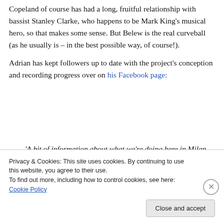Copeland of course has had a long, fruitful relationship with bassist Stanley Clarke, who happens to be Mark King's musical hero, so that makes some sense. But Belew is the real curveball (as he usually is – in the best possible way, of course!).
Adrian has kept followers up to date with the project's conception and recording progress over on his Facebook page:
'A bit of information about what we're doing here in Milan. Gizmo is a recording project created by Stewart
Privacy & Cookies: This site uses cookies. By continuing to use this website, you agree to their use.
To find out more, including how to control cookies, see here: Cookie Policy